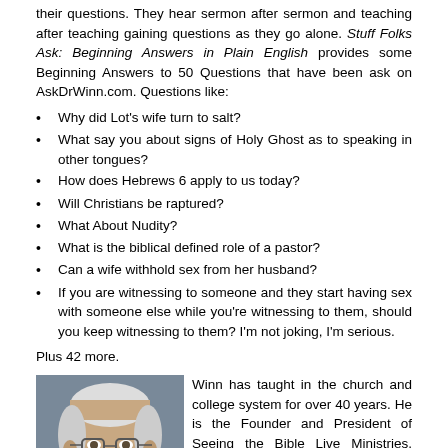their questions. They hear sermon after sermon and teaching after teaching gaining questions as they go alone. Stuff Folks Ask: Beginning Answers in Plain English provides some Beginning Answers to 50 Questions that have been ask on AskDrWinn.com. Questions like:
Why did Lot's wife turn to salt?
What say you about signs of Holy Ghost as to speaking in other tongues?
How does Hebrews 6 apply to us today?
Will Christians be raptured?
What About Nudity?
What is the biblical defined role of a pastor?
Can a wife withhold sex from her husband?
If you are witnessing to someone and they start having sex with someone else while you're witnessing to them, should you keep witnessing to them? I'm not joking, I'm serious.
Plus 42 more.
[Figure (photo): Portrait photo of an older man with white hair, beard, and glasses wearing a blue plaid shirt]
Winn has taught in the church and college system for over 40 years. He is the Founder and President of Seeing the Bible Live Ministries, Woodinville, WA. Because of his interest in education, he created two online schools: "The Institute for Biblical Studies" and "Missio Dei Learning Community." He is the Publisher at Harmon Press.
Winn loves spending time with his family, collecting baseball cards, watching movies, eating banana sandwiches (now with